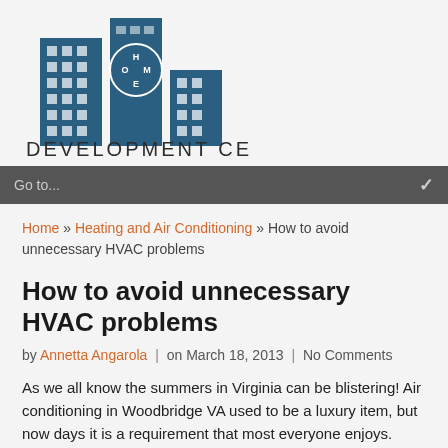[Figure (logo): Home Development Center logo: two blue skyscrapers with 'HOME' text integrated, above 'DEVELOPMENT CENTER' in large spaced uppercase letters]
Go to...
Home » Heating and Air Conditioning » How to avoid unnecessary HVAC problems
How to avoid unnecessary HVAC problems
by Annetta Angarola | on March 18, 2013 | No Comments
As we all know the summers in Virginia can be blistering! Air conditioning in Woodbridge VA used to be a luxury item, but now days it is a requirement that most everyone enjoys. Nothing is